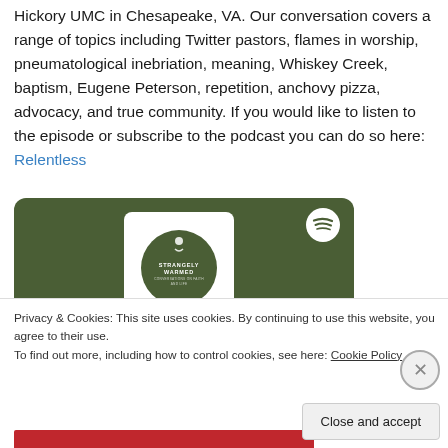Hickory UMC in Chesapeake, VA. Our conversation covers a range of topics including Twitter pastors, flames in worship, pneumatological inebriation, meaning, Whiskey Creek, baptism, Eugene Peterson, repetition, anchovy pizza, advocacy, and true community. If you would like to listen to the episode or subscribe to the podcast you can do so here: Relentless
[Figure (screenshot): Spotify podcast card with dark olive/green background showing 'Strangely Warmed' podcast album art (white rounded square with dark green circle and figure/text) and Spotify logo icon in top right corner.]
Privacy & Cookies: This site uses cookies. By continuing to use this website, you agree to their use.
To find out more, including how to control cookies, see here: Cookie Policy
Close and accept